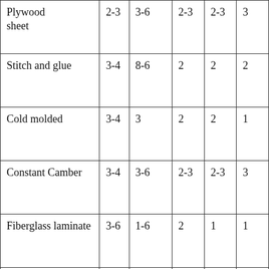| Plywood sheet | 2-3 | 3-6 | 2-3 | 2-3 | 3 |
| Stitch and glue | 3-4 | 8-6 | 2 | 2 | 2 |
| Cold molded | 3-4 | 3 | 2 | 2 | 1 |
| Constant Camber | 3-4 | 3-6 | 2-3 | 2-3 | 3 |
| Fiberglass laminate | 3-6 | 1-6 | 2 | 1 | 1 |
| FRP sandwich core | 4-6 | 1-6 | 3 | 2-3 | 1 |
| Composite | 6 | 1-6 | 3-6 | 3 | 1 |